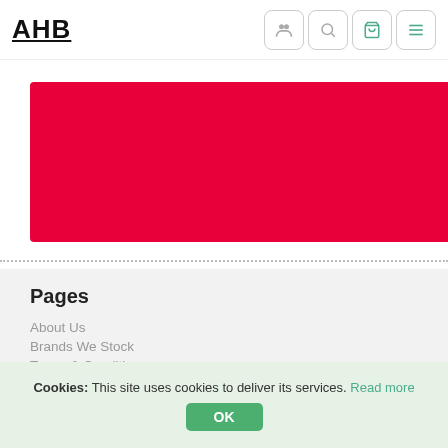AHB
[Figure (illustration): Red banner/hero image area]
Pages
About Us
Brands We Stock
Terms & Conditions
Privacy Policy
FAQs
Contact Us
Cookies: This site uses cookies to deliver its services. Read more